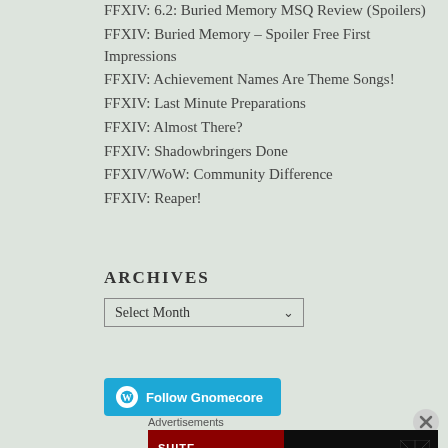FFXIV: 6.2: Buried Memory MSQ Review (Spoilers)
FFXIV: Buried Memory – Spoiler Free First Impressions
FFXIV: Achievement Names Are Theme Songs!
FFXIV: Last Minute Preparations
FFXIV: Almost There?
FFXIV: Shadowbringers Done
FFXIV/WoW: Community Difference
FFXIV: Reaper!
ARCHIVES
Select Month
[Figure (screenshot): Follow Gnomecore button with WordPress icon]
Advertisements
[Figure (photo): Advertisement banner showing Suite Sleepovers and The D Las Vegas]